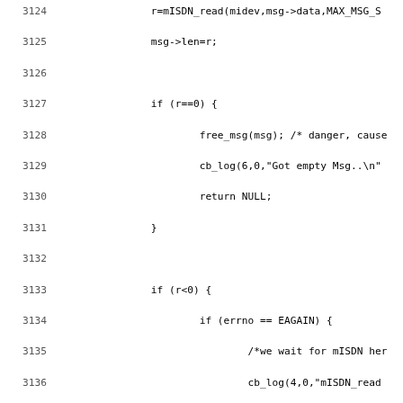[Figure (other): Source code listing in C, lines 3124-3155, showing mISDN read logic with EAGAIN handling, conditional compilation with #if 0/#endif, and the beginning of misdn_lib_isdn_l1watcher function.]